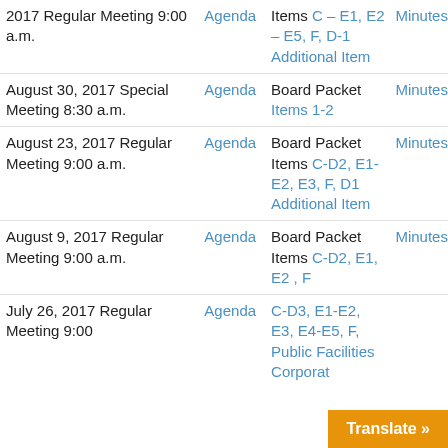| Date/Meeting | Agenda | Board Packet | Minutes |
| --- | --- | --- | --- |
| 2017 Regular Meeting 9:00 a.m. | Agenda | Items C – E1, E2 – E5, F, D-1 Additional Item | Minutes |
| August 30, 2017 Special Meeting 8:30 a.m. | Agenda | Board Packet Items 1-2 | Minutes |
| August 23, 2017 Regular Meeting 9:00 a.m. | Agenda | Board Packet Items C-D2, E1-E2, E3, F, D1 Additional Item | Minutes |
| August 9, 2017 Regular Meeting 9:00 a.m. | Agenda | Board Packet Items C-D2, E1, E2 , F | Minutes |
| July 26, 2017 Regular Meeting 9:00 | Agenda | C-D3, E1-E2, E3, E4-E5, F, Public Facilities Corporat... |  |
Translate »